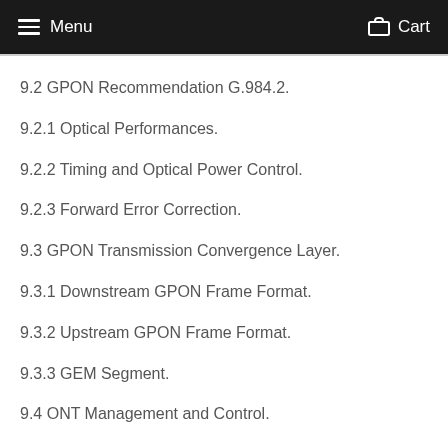Menu  Cart
9.2 GPON Recommendation G.984.2.
9.2.1 Optical Performances.
9.2.2 Timing and Optical Power Control.
9.2.3 Forward Error Correction.
9.3 GPON Transmission Convergence Layer.
9.3.1 Downstream GPON Frame Format.
9.3.2 Upstream GPON Frame Format.
9.3.3 GEM Segment.
9.4 ONT Management and Control.
9.5 summary.